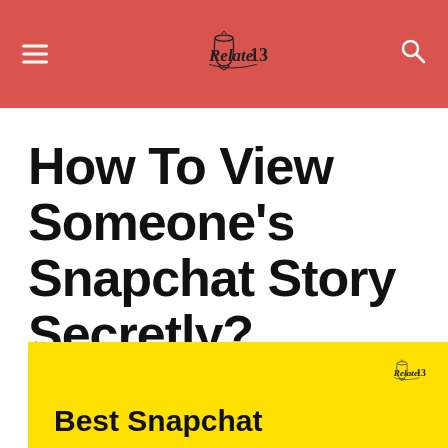Relate13
How To View Someone's Snapchat Story Secretly?
March 10, 2022
[Figure (illustration): Yellow background banner image with bold black text 'Best Snapchat' and a Relate13 logo in the upper right corner]